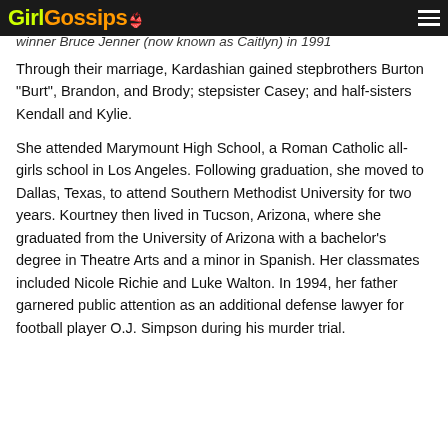GirlGossips
winner Bruce Jenner (now known as Caitlyn) in 1991
Through their marriage, Kardashian gained stepbrothers Burton “Burt”, Brandon, and Brody; stepsister Casey; and half-sisters Kendall and Kylie.

She attended Marymount High School, a Roman Catholic all-girls school in Los Angeles. Following graduation, she moved to Dallas, Texas, to attend Southern Methodist University for two years. Kourtney then lived in Tucson, Arizona, where she graduated from the University of Arizona with a bachelor’s degree in Theatre Arts and a minor in Spanish. Her classmates included Nicole Richie and Luke Walton. In 1994, her father garnered public attention as an additional defense lawyer for football player O.J. Simpson during his murder trial.